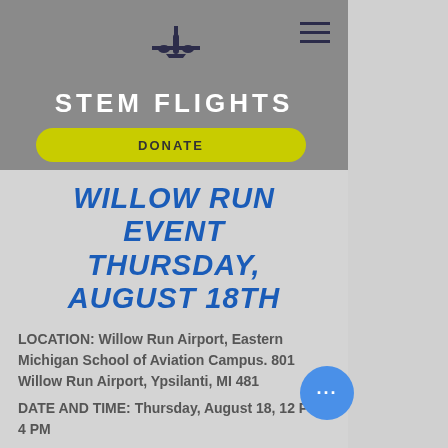[Figure (logo): STEM Flights airplane logo icon in dark navy blue]
STEM FLIGHTS
DONATE
WILLOW RUN EVENT THURSDAY, AUGUST 18TH
LOCATION: Willow Run Airport, Eastern Michigan School of Aviation Campus. 801 Willow Run Airport, Ypsilanti, MI 4810...
DATE AND TIME: Thursday, August 18, 12 PM - 4 PM...